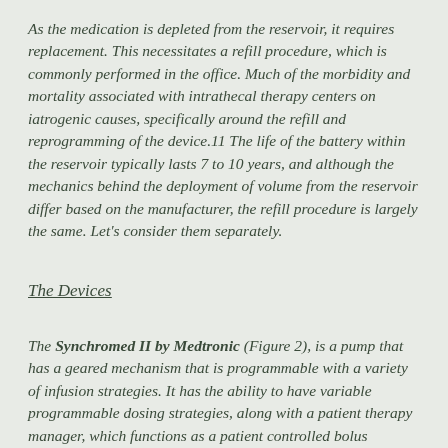As the medication is depleted from the reservoir, it requires replacement. This necessitates a refill procedure, which is commonly performed in the office. Much of the morbidity and mortality associated with intrathecal therapy centers on iatrogenic causes, specifically around the refill and reprogramming of the device.11 The life of the battery within the reservoir typically lasts 7 to 10 years, and although the mechanics behind the deployment of volume from the reservoir differ based on the manufacturer, the refill procedure is largely the same. Let's consider them separately.
The Devices
The Synchromed II by Medtronic (Figure 2), is a pump that has a geared mechanism that is programmable with a variety of infusion strategies. It has the ability to have variable programmable dosing strategies, along with a patient therapy manager, which functions as a patient controlled bolus delivery mechanism much like